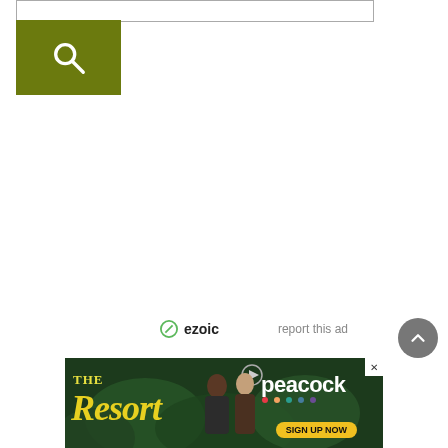[Figure (screenshot): Search input bar — empty text field with border]
[Figure (screenshot): Olive/dark green search button with white magnifying glass icon]
[Figure (screenshot): Ezoic logo with circle icon and 'report this ad' link on the right]
[Figure (screenshot): Scroll-to-top circular button (dark grey)]
[Figure (screenshot): Ad banner for 'The Resort' on Peacock — dark jungle background, show title in yellow, two people, Peacock logo, SIGN UP NOW button]